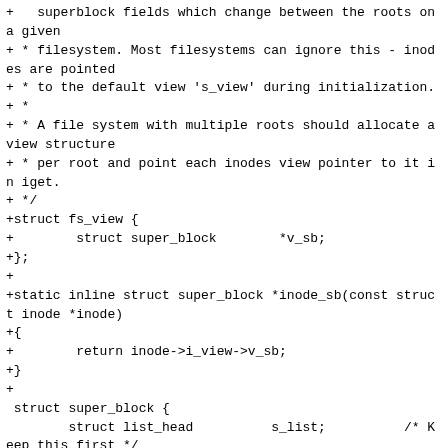+   superblock fields which change between the roots on a given
+ * filesystem. Most filesystems can ignore this - inodes are pointed
+ * to the default view 's_view' during initialization.
+ *
+ * A file system with multiple roots should allocate a view structure
+ * per root and point each inodes view pointer to it in iget.
+ */
+struct fs_view {
+        struct super_block        *v_sb;
+};
+
+static inline struct super_block *inode_sb(const struct inode *inode)
+{
+        return inode->i_view->v_sb;
+}
+
 struct super_block {
        struct list_head         s_list;         /* Keep this first */
        dev_t                    s_dev;          /* search index; _not_ kdev_t */
@@ -1358,6 +1376,7 @@ struct super_block {
        struct rw_semaphore      s_umount;
        int                      s_count;
        atomic_t                 s_active;
+       struct fs_view           s_view;         /*